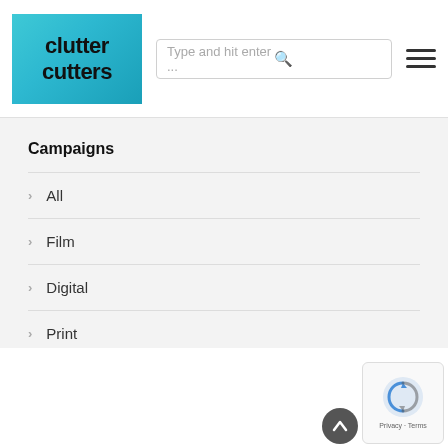clutter cutters — navigation header with search bar and hamburger menu
Campaigns
All
Film
Digital
Print
Audio